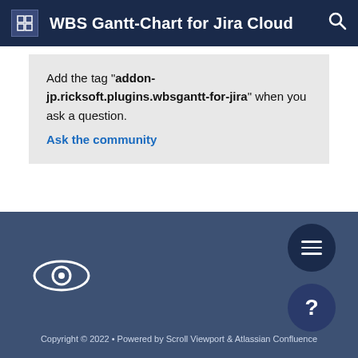WBS Gantt-Chart for Jira Cloud
Add the tag "addon-jp.ricksoft.plugins.wbsgantt-for-jira" when you ask a question.
Ask the community
Copyright © 2022 • Powered by Scroll Viewport & Atlassian Confluence